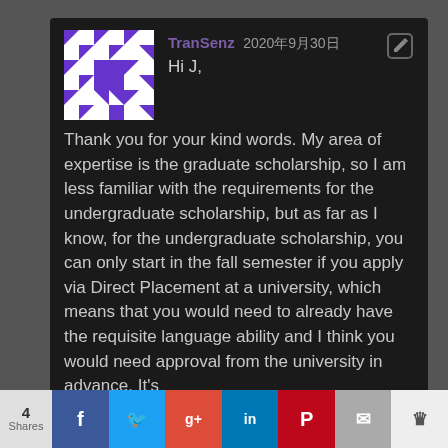[Figure (illustration): Geometric avatar with purple and white triangular pattern]
TranSenz 2020年9月30日
Hi J,
Thank you for your kind words. My area of expertise is the graduate scholarship, so I am less familiar with the requirements for the undergraduate scholarship, but as far as I know, for the undergraduate scholarship, you can only start in the fall semester if you apply via Direct Placement at a university, which means that you would need to already have the requisite language ability and I think you would need approval from the university in advance. It's
4 Shares